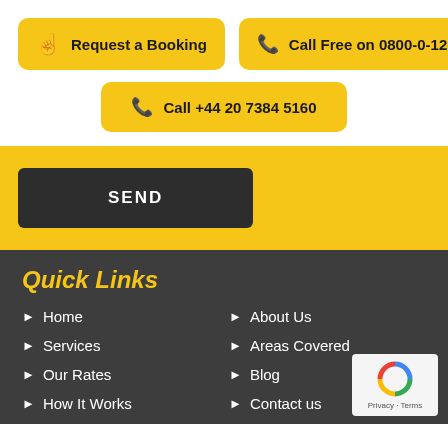[Figure (screenshot): Yellow button: Request a Booking with finger icon]
[Figure (screenshot): Yellow button: Call Free on 0800-0-12-12-12 with phone icon]
[Figure (screenshot): Yellow button: Call +44 20 7384 5160 with phone icon]
[Figure (screenshot): Dark Send button on yellow background]
Quick Links
Home
About Us
Services
Areas Covered
Our Rates
Blog
How It Works
Contact us